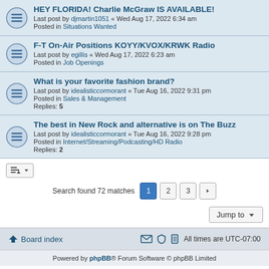HEY FLORIDA! Charlie McGraw IS AVAILABLE! — Last post by djmartin1051 « Wed Aug 17, 2022 6:34 am — Posted in Situations Wanted
F-T On-Air Positions KOYY/KVOX/KRWK Radio — Last post by egillis « Wed Aug 17, 2022 6:23 am — Posted in Job Openings
What is your favorite fashion brand? — Last post by idealisticcormorant « Tue Aug 16, 2022 9:31 pm — Posted in Sales & Management — Replies: 5
The best in New Rock and alternative is on The Buzz — Last post by idealisticcormorant « Tue Aug 16, 2022 9:28 pm — Posted in Internet/Streaming/Podcasting/HD Radio — Replies: 2
Search found 72 matches — Pages: 1 2 3 >
Jump to
Board index — All times are UTC-07:00
Powered by phpBB® Forum Software © phpBB Limited